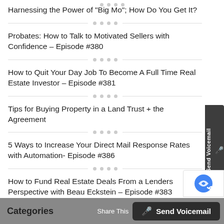Harnessing the Power of "Big Mo"; How Do You Get It?
Probates: How to Talk to Motivated Sellers with Confidence – Episode #380
How to Quit Your Day Job To Become A Full Time Real Estate Investor – Episode #381
Tips for Buying Property in a Land Trust + the Agreement
5 Ways to Increase Your Direct Mail Response Rates with Automation- Episode #386
How to Fund Real Estate Deals From a Lenders Perspective with Beau Eckstein – Episode #383
Share This
🎤 Send Voicemail
Categories